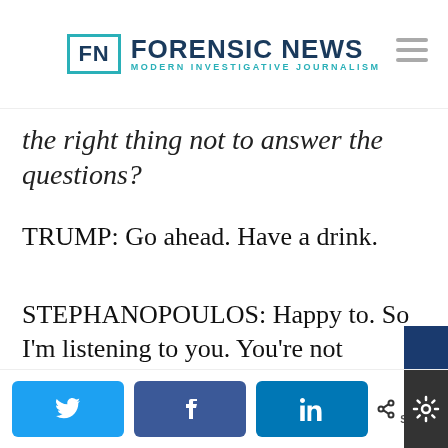FN FORENSIC NEWS MODERN INVESTIGATIVE JOURNALISM
the right thing not to answer the questions?
TRUMP: Go ahead. Have a drink.
STEPHANOPOULOS: Happy to. So I'm listening to you. You're not worried
We use cookies on our website to give you the most relevant experience by remembering your preferences and repeat visits. By clicking “Accept”, you consent to the use of ALL the cookies subject to GDPR and CCPA.
Do not sell my personal information.